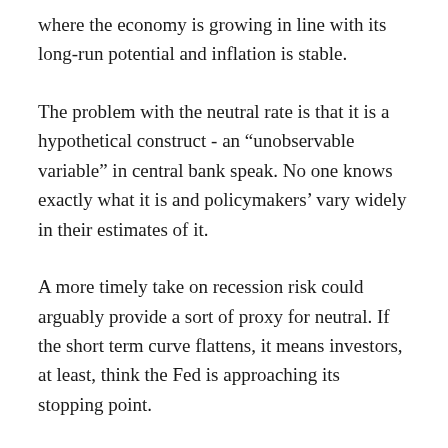where the economy is growing in line with its long-run potential and inflation is stable.
The problem with the neutral rate is that it is a hypothetical construct - an “unobservable variable” in central bank speak. No one knows exactly what it is and policymakers’ vary widely in their estimates of it.
A more timely take on recession risk could arguably provide a sort of proxy for neutral. If the short term curve flattens, it means investors, at least, think the Fed is approaching its stopping point.
Engstrom and Sharpe noted that their take on recession indicators may be less affected by “many of